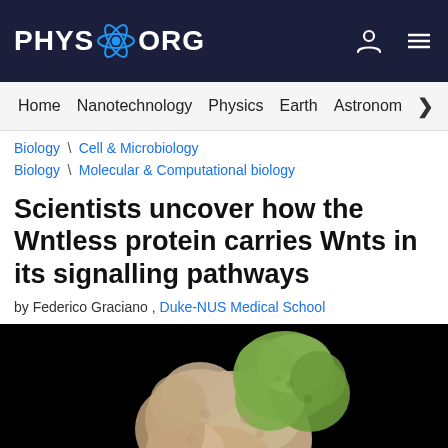PHYS.ORG
Home | Nanotechnology | Physics | Earth | Astronomy
Biology \ Cell & Microbiology
Biology \ Molecular & Computational biology
Scientists uncover how the Wntless protein carries Wnts in its signalling pathways
by Federico Graciano , Duke-NUS Medical School
[Figure (photo): 3D molecular structure rendering of Wntless protein complex on black background, showing tan/beige and green colored protein regions with a yellow accent area at the bottom]